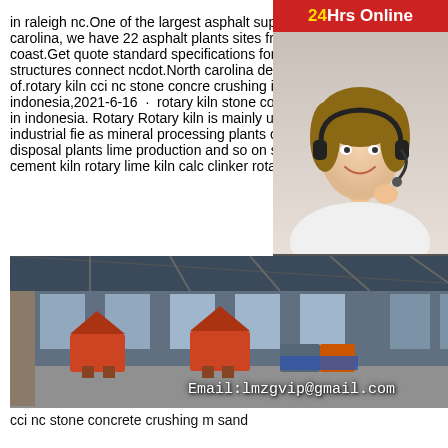in raleigh nc.One of the largest asphalt suppliers in north carolina, we have 22 asphalt plants sites from raleigh to the coast.Get quote standard specifications for roads and structures connect ncdot.North carolina department of.rotary kiln cci nc stone concrete crushing in indonesia,2021-6-16 · rotary kiln stone concrete crushing in indonesia. Rotary Rotary kiln is mainly used in the industrial fie as mineral processing plants cement plants disposal plants lime production and so on so called rotary cement kiln rotary lime kiln calc clinker rotary kiln etc.
[Figure (photo): Sidebar banner showing a smiling female customer service agent wearing a headset, with a red '24Hrs Online' label at the top and a dark grey 'Need questions & suggestion?' box with a red 'Chat Now' button below.]
[Figure (photo): Interior of a large industrial hall or exhibition center with heavy crushing machinery (cone crushers) visible on the floor, tall arched windows and steel roof structure, with an email overlay reading 'Email:lmzgvip@gmail.com'.]
cci nc stone concrete crushing m sand